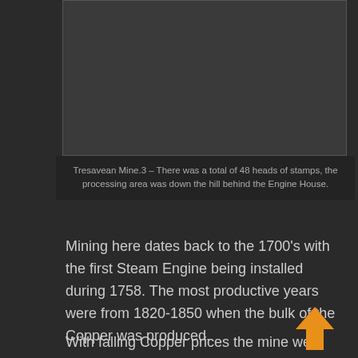[Figure (photo): Dark rectangular image area showing Tresavean Mine photograph]
Tresavean Mine.3 – There was a total of 48 heads of stamps, the processing area was down the hill behind the Engine House.
Mining here dates back to the 1700's with the first Steam Engine being installed during 1758. The most productive years were from 1820-1850 when the bulk of the Copper was produced.
With falling Copper prices the mine went up for sale in 1858. Since then it was worked as: Tresavean and